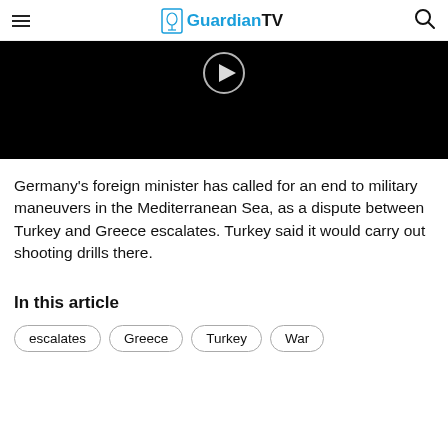GuardianTV
[Figure (screenshot): Black video thumbnail with a circular play button icon at the top center]
Germany's foreign minister has called for an end to military maneuvers in the Mediterranean Sea, as a dispute between Turkey and Greece escalates. Turkey said it would carry out shooting drills there.
In this article
escalates
Greece
Turkey
War